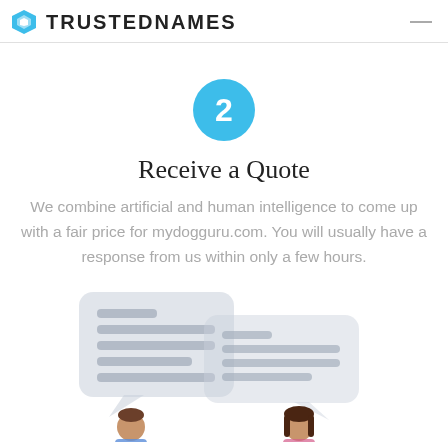TRUSTEDNAMES
[Figure (illustration): Step 2 blue circle badge with number 2]
Receive a Quote
We combine artificial and human intelligence to come up with a fair price for mydogguru.com. You will usually have a response from us within only a few hours.
[Figure (illustration): Two chat speech bubbles with text lines, and two people (man and woman) below them, representing a quote conversation]